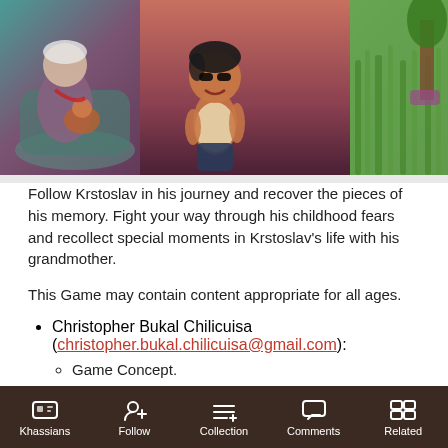[Figure (illustration): Illustrated scene showing an elderly woman sitting with a child on the left side (teal/purple tones), a boy character standing in the center-right (warm brown tones), and a green countryside background on the far right. Game art style.]
Follow Krstoslav in his journey and recover the pieces of his memory. Fight your way through his childhood fears and recollect special moments in Krstoslav's life with his grandmother.
This Game may contain content appropriate for all ages.
Christopher Bukal Chilicuisa (christopher.bukal.chilicuisa@gmail.com):
Game Concept.
Character Animation.
Character Modeling.
Khassians  Follow  Collection  Comments  Related